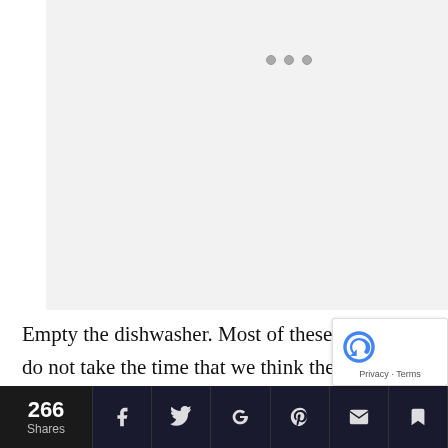[Figure (other): Advertisement placeholder area with light gray background and three small gray dots indicating a loading carousel or ad unit]
Empty the dishwasher. Most of these things do not take the time that we think they do. Most of us are not “a doing these things, like we think we are. So go, step away, let your brain reboot. You may get that idea while you are
[Figure (other): Google reCAPTCHA badge showing the recycling-arrow logo with Privacy and Terms links]
266 Shares | Facebook | Twitter | Google+ | Pinterest | Email | Bookmark